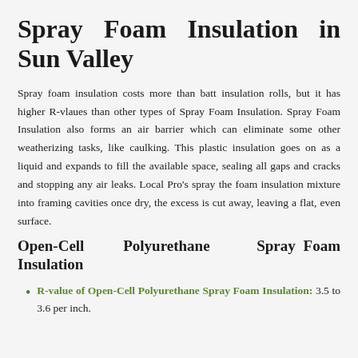Spray Foam Insulation in Sun Valley
Spray foam insulation costs more than batt insulation rolls, but it has higher R-vlaues than other types of Spray Foam Insulation. Spray Foam Insulation also forms an air barrier which can eliminate some other weatherizing tasks, like caulking. This plastic insulation goes on as a liquid and expands to fill the available space, sealing all gaps and cracks and stopping any air leaks. Local Pro's spray the foam insulation mixture into framing cavities once dry, the excess is cut away, leaving a flat, even surface.
Open-Cell Polyurethane Spray Foam Insulation
R-value of Open-Cell Polyurethane Spray Foam Insulation: 3.5 to 3.6 per inch.